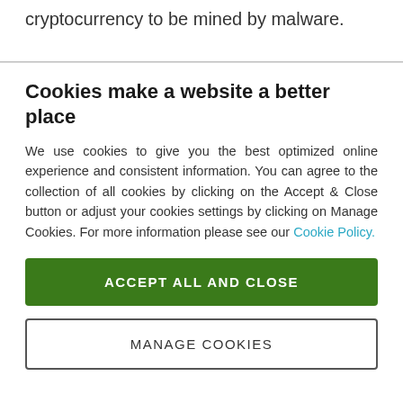cryptocurrency to be mined by malware.
Cookies make a website a better place
We use cookies to give you the best optimized online experience and consistent information. You can agree to the collection of all cookies by clicking on the Accept & Close button or adjust your cookies settings by clicking on Manage Cookies. For more information please see our Cookie Policy.
ACCEPT ALL AND CLOSE
MANAGE COOKIES